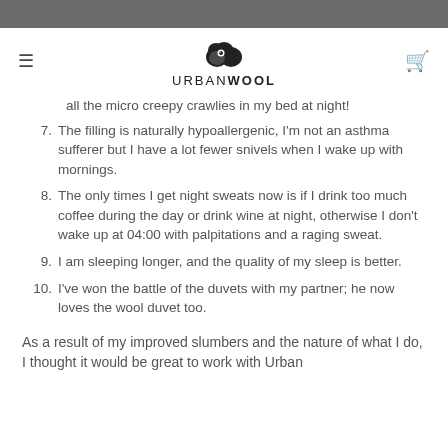URBANWOOL
all the micro creepy crawlies in my bed at night!
7. The filling is naturally hypoallergenic, I'm not an asthma sufferer but I have a lot fewer snivels when I wake up with mornings.
8. The only times I get night sweats now is if I drink too much coffee during the day or drink wine at night, otherwise I don't wake up at 04:00 with palpitations and a raging sweat.
9. I am sleeping longer, and the quality of my sleep is better.
10. I've won the battle of the duvets with my partner; he now loves the wool duvet too.
As a result of my improved slumbers and the nature of what I do, I thought it would be great to work with Urban